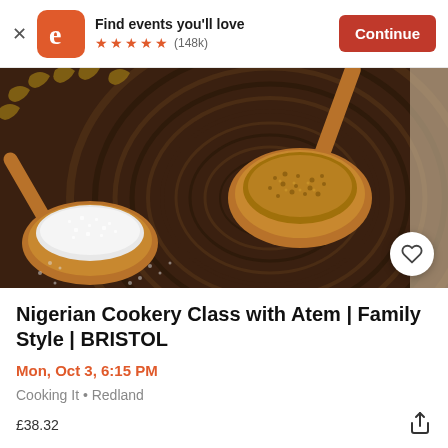Find events you'll love ★★★★★ (148k) Continue
[Figure (photo): Two wooden spoons on a dark wooden board — one filled with white salt crystals and one filled with mixed spices/pepper, with pasta pieces around the edges. Overhead/angled food photography shot.]
Nigerian Cookery Class with Atem | Family Style | BRISTOL
Mon, Oct 3, 6:15 PM
Cooking It • Redland
£38.32